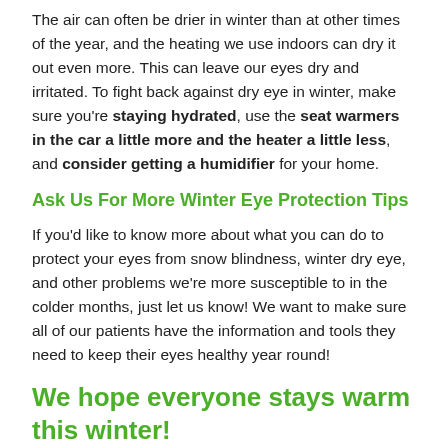The air can often be drier in winter than at other times of the year, and the heating we use indoors can dry it out even more. This can leave our eyes dry and irritated. To fight back against dry eye in winter, make sure you're staying hydrated, use the seat warmers in the car a little more and the heater a little less, and consider getting a humidifier for your home.
Ask Us For More Winter Eye Protection Tips
If you'd like to know more about what you can do to protect your eyes from snow blindness, winter dry eye, and other problems we're more susceptible to in the colder months, just let us know! We want to make sure all of our patients have the information and tools they need to keep their eyes healthy year round!
We hope everyone stays warm this winter!